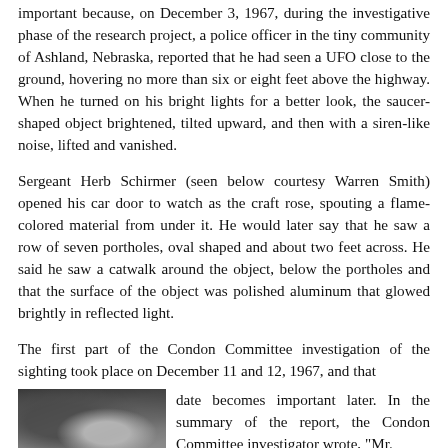important because, on December 3, 1967, during the investigative phase of the research project, a police officer in the tiny community of Ashland, Nebraska, reported that he had seen a UFO close to the ground, hovering no more than six or eight feet above the highway. When he turned on his bright lights for a better look, the saucer-shaped object brightened, tilted upward, and then with a siren-like noise, lifted and vanished.
Sergeant Herb Schirmer (seen below courtesy Warren Smith) opened his car door to watch as the craft rose, spouting a flame-colored material from under it. He would later say that he saw a row of seven portholes, oval shaped and about two feet across. He said he saw a catwalk around the object, below the portholes and that the surface of the object was polished aluminum that glowed brightly in reflected light.
The first part of the Condon Committee investigation of the sighting took place on December 11 and 12, 1967, and that date becomes important later. In the summary of the report, the Condon Committee investigator wrote, "Mr.
[Figure (photo): Black and white photograph, partially visible, showing a dark interior or object scene.]